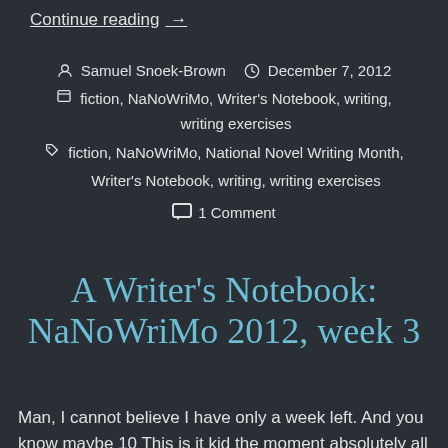Continue reading. →
Samuel Snoek-Brown   December 7, 2012
fiction, NaNoWriMo, Writer's Notebook, writing, writing exercises
fiction, NaNoWriMo, National Novel Writing Month, Writer's Notebook, writing, writing exercises
1 Comment
A Writer's Notebook: NaNoWriMo 2012, week 3
Man, I cannot believe I have only a week left. And you know maybe 10 This is it kid the moment absolutely all it...